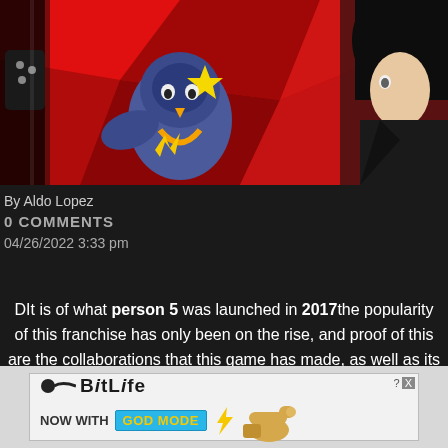[Figure (illustration): Anime-style artwork from Persona 5 featuring characters on a red background with broken glass shards. A bird-like character with a blue mask and yellow star is in the center-left, and a dark-haired character in black is on the right.]
By Aldo Lopez
0 COMMENTS
04/26/2022 3:33 pm
DIt is of what person 5 was launched in 2017the popularity of this franchise has only been on the rise, and proof of this are the collaborations that this game has made, as well as its
[Figure (illustration): BitLife advertisement banner: 'BitLife NOW WITH GOD MODE' with a pointing hand graphic on a light gray background.]